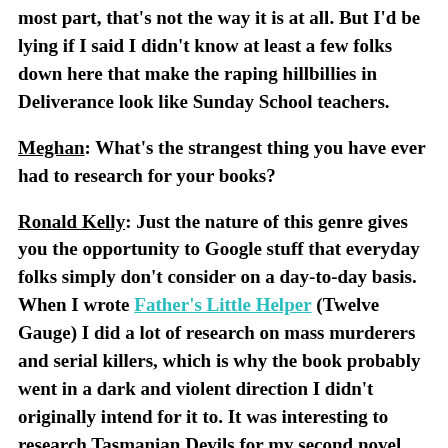most part, that's not the way it is at all. But I'd be lying if I said I didn't know at least a few folks down here that make the raping hillbillies in Deliverance look like Sunday School teachers.
Meghan: What's the strangest thing you have ever had to research for your books?
Ronald Kelly: Just the nature of this genre gives you the opportunity to Google stuff that everyday folks simply don't consider on a day-to-day basis. When I wrote Father's Little Helper (Twelve Gauge) I did a lot of research on mass murderers and serial killers, which is why the book probably went in a dark and violent direction I didn't originally intend for it to. It was interesting to research Tasmanian Devils for my second novel, Pitfall. They are vicious little critters,